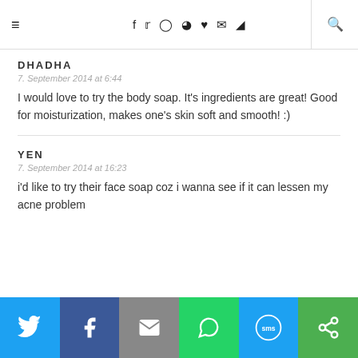≡ f ♥ ✉ ⊕ ♥ ✉ ))) 🔍
DHADHA
7. September 2014 at 6:44
I would love to try the body soap. It's ingredients are great! Good for moisturization, makes one's skin soft and smooth! :)
YEN
7. September 2014 at 16:23
i'd like to try their face soap coz i wanna see if it can lessen my acne problem
[Figure (infographic): Social share bar with six colored buttons: Twitter (blue), Facebook (dark blue), Email (gray), WhatsApp (green), SMS (blue), and a share/other (green) button, each showing white icons.]